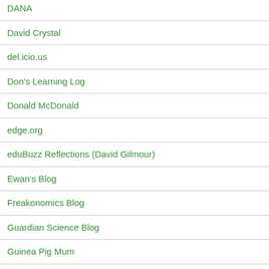DANA
David Crystal
del.icio.us
Don's Learning Log
Donald McDonald
edge.org
eduBuzz Reflections (David Gilmour)
Ewan's Blog
Freakonomics Blog
Guardian Science Blog
Guinea Pig Mum
Hilery Williams
John @ Sandaig PS